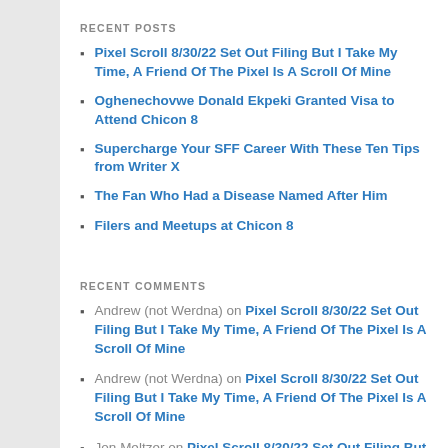RECENT POSTS
Pixel Scroll 8/30/22 Set Out Filing But I Take My Time, A Friend Of The Pixel Is A Scroll Of Mine
Oghenechovwe Donald Ekpeki Granted Visa to Attend Chicon 8
Supercharge Your SFF Career With These Ten Tips from Writer X
The Fan Who Had a Disease Named After Him
Filers and Meetups at Chicon 8
RECENT COMMENTS
Andrew (not Werdna) on Pixel Scroll 8/30/22 Set Out Filing But I Take My Time, A Friend Of The Pixel Is A Scroll Of Mine
Andrew (not Werdna) on Pixel Scroll 8/30/22 Set Out Filing But I Take My Time, A Friend Of The Pixel Is A Scroll Of Mine
Jon Meltzer on Pixel Scroll 8/30/22 Set Out Filing But I Take My Time, A Friend Of The Pixel Is A Scroll Of